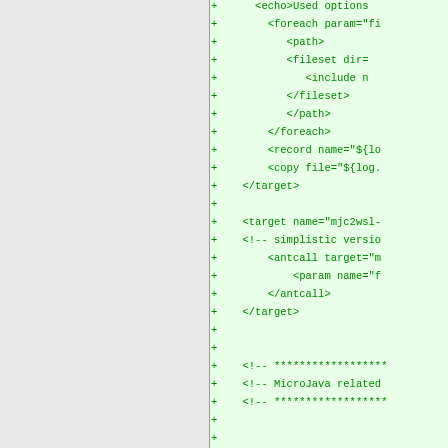[Figure (screenshot): A diff view showing two columns. The left column (gray background) is mostly empty. The right column (light green background) shows added lines (+) with XML/Ant build file content in green. The bottom portion shows a two-column diff with matching lines side by side, some removed lines (red, -) and added lines (green, +).]